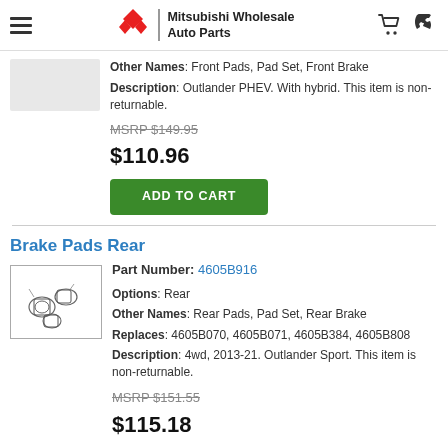[Figure (logo): Mitsubishi Wholesale Auto Parts logo with red diamond Mitsubishi symbol]
Other Names: Front Pads, Pad Set, Front Brake
Description: Outlander PHEV. With hybrid. This item is non-returnable.
MSRP $149.95
$110.96
ADD TO CART
Brake Pads Rear
Part Number: 4605B916
Options: Rear
Other Names: Rear Pads, Pad Set, Rear Brake
Replaces: 4605B070, 4605B071, 4605B384, 4605B808
Description: 4wd, 2013-21. Outlander Sport. This item is non-returnable.
MSRP $151.55
$115.18